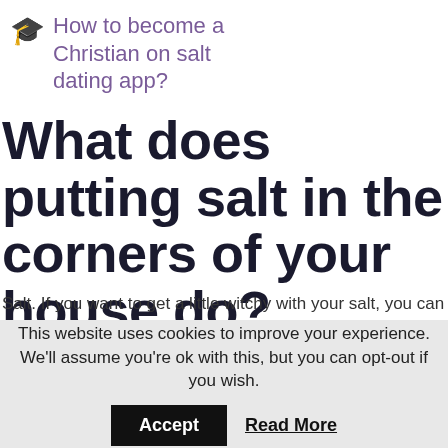How to become a Christian on salt dating app?
What does putting salt in the corners of your house do?
Salt. If you want to get a little witchy with your salt, you can sprinkle or place bowls of salt in the corners of your rooms that need energy cleansing. The salt will do its job to absorb any negative energy or toxins and after a few hours you can vacuum it up, or toss it out.
This website uses cookies to improve your experience. We'll assume you're ok with this, but you can opt-out if you wish.